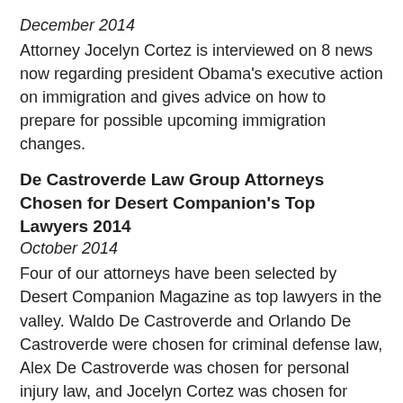December 2014
Attorney Jocelyn Cortez is interviewed on 8 news now regarding president Obama's executive action on immigration and gives advice on how to prepare for possible upcoming immigration changes.
De Castroverde Law Group Attorneys Chosen for Desert Companion's Top Lawyers 2014
October 2014
Four of our attorneys have been selected by Desert Companion Magazine as top lawyers in the valley. Waldo De Castroverde and Orlando De Castroverde were chosen for criminal defense law, Alex De Castroverde was chosen for personal injury law, and Jocelyn Cortez was chosen for immigration law.
View Desert Companion's Top Lawyers 2014 List
Attorney Jocelyn Cortez Selected for 2014 Nevada